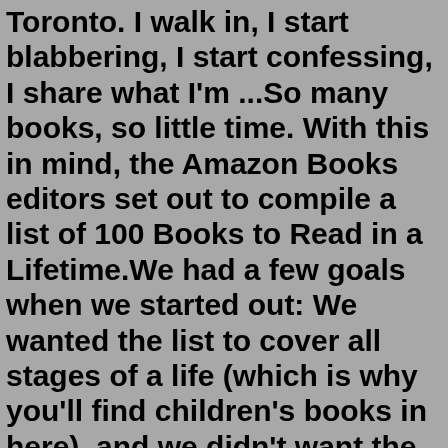Toronto. I walk in, I start blabbering, I start confessing, I share what I'm ...So many books, so little time. With this in mind, the Amazon Books editors set out to compile a list of 100 Books to Read in a Lifetime.We had a few goals when we started out: We wanted the list to cover all stages of a life (which is why you'll find children's books in here), and we didn't want the list to feel like homework. Apr 12, 2022 · 1. Project Gutenberg. Project Gutenberg is an online library of over 60,000 free eBooks that you can download or read online without downloading. As the mother of all current ebook sites, Project Gutenberg offers the world's great literature and classics. 5 ways to read more books, blogs, and articles. 1. Read for speed: Tim Ferriss' guide to reading 300% faster. Tim Ferriss, author of the 4-Hour Workweek and a handful of other bestsellers, is one of the leading voices in lifehacks, experiments, and getting things done.Layer 3: For the third layer, go through your notes and highlight again what is most important to you. The key to creating effective layers is